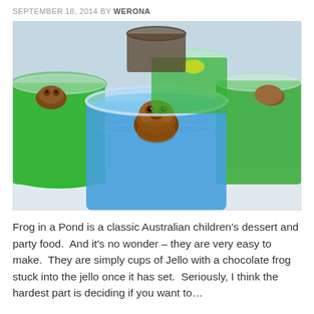SEPTEMBER 18, 2014 BY WERONA
[Figure (photo): Multiple clear plastic cups filled with blue and green Jello (gelatin), each with a chocolate frog candy placed on top or partially submerged in the jello. The central cup features blue jello with a brown chocolate frog sitting in the middle. Background cups show green jello with various candy decorations.]
Frog in a Pond is a classic Australian children's dessert and party food.  And it's no wonder – they are very easy to make.  They are simply cups of Jello with a chocolate frog stuck into the jello once it has set.  Seriously, I think the hardest part is deciding if you want to…